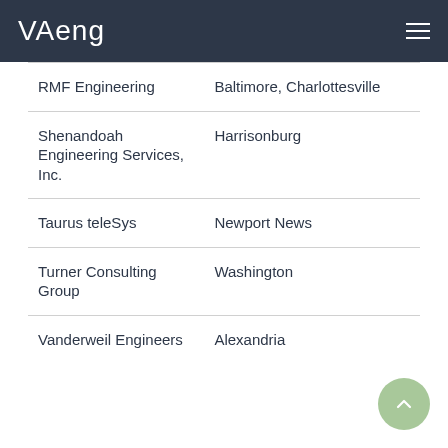VAeng
| RMF Engineering | Baltimore, Charlottesville |
| Shenandoah Engineering Services, Inc. | Harrisonburg |
| Taurus teleSys | Newport News |
| Turner Consulting Group | Washington |
| Vanderweil Engineers | Alexandria |